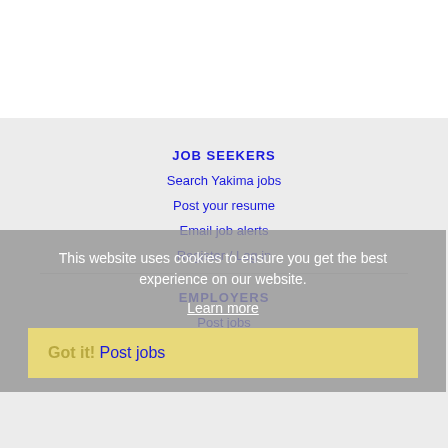JOB SEEKERS
Search Yakima jobs
Post your resume
Email job alerts
Register / Log in
This website uses cookies to ensure you get the best experience on our website.
Learn more
EMPLOYERS
Got it!  Post jobs
Search resumes
Email resume alerts